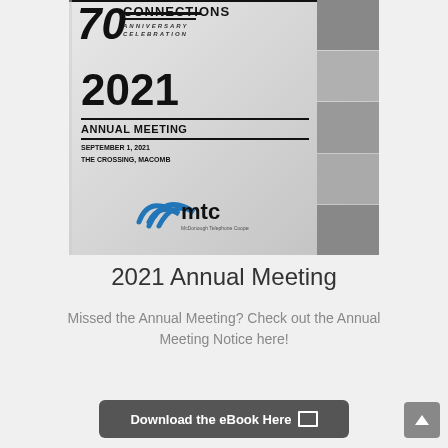[Figure (illustration): Cover of the 2021 Annual Meeting booklet for MTC (McDonough Telephone Cooperative). Shows '70 CONNECTIONS ANNIVERSARY CELEBRATION' at top, '2021 ANNUAL MEETING' in large text, 'SEPTEMBER 1, 2021 / THE CROSSING, MACOMB', MTC logo, and photo collage on the right side.]
2021 Annual Meeting
Missed the Annual Meeting? Check out the Annual Meeting Notice here!
Download the eBook Here